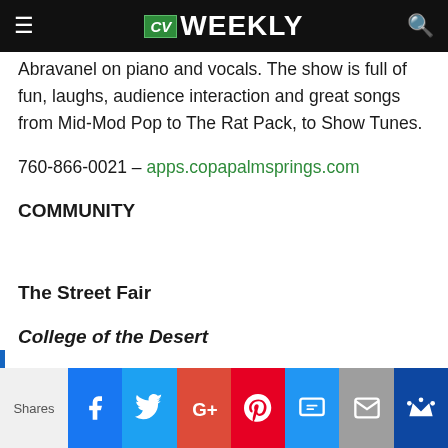CV WEEKLY
Abravanel on piano and vocals. The show is full of fun, laughs, audience interaction and great songs from Mid-Mod Pop to The Rat Pack, to Show Tunes.
760-866-0021 – apps.copapalmsprings.com
COMMUNITY
The Street Fair
College of the Desert
Shares | Facebook | Twitter | Google+ | Pinterest | SMS | Mail | Crown